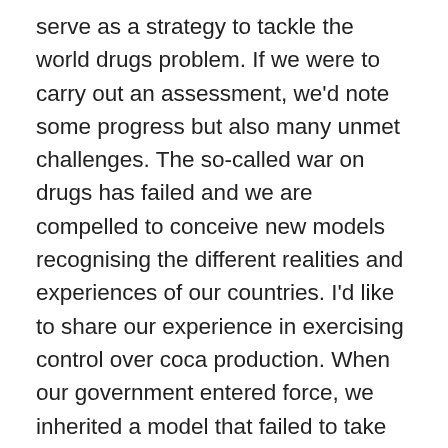serve as a strategy to tackle the world drugs problem. If we were to carry out an assessment, we'd note some progress but also many unmet challenges. The so-called war on drugs has failed and we are compelled to conceive new models recognising the different realities and experiences of our countries. I'd like to share our experience in exercising control over coca production. When our government entered force, we inherited a model that failed to take into account the cultural and medicinal uses of coca. The leaf was criminalised and stigmatised. Neoliberal times imposed policies that punished coca producers and a served as a mechanism to serve geopolitical control. Alternative development was promoted as a substitution strategy. The